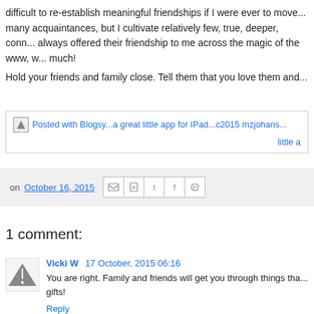difficult to re-establish meaningful friendships if I were ever to move... many acquaintances, but I cultivate relatively few, true, deeper, conn... always offered their friendship to me across the magic of the www, w... much!
Hold your friends and family close. Tell them that you love them and...
[Figure (screenshot): Posted with Blogsy...a great little app for IPad...c2015 mzjohans... little a]
on October 16, 2015 [share icons: email, blogger, twitter, facebook, pinterest]
1 comment:
Vicki W 17 October, 2015 06:16
You are right. Family and friends will get you through things tha... gifts!
Reply